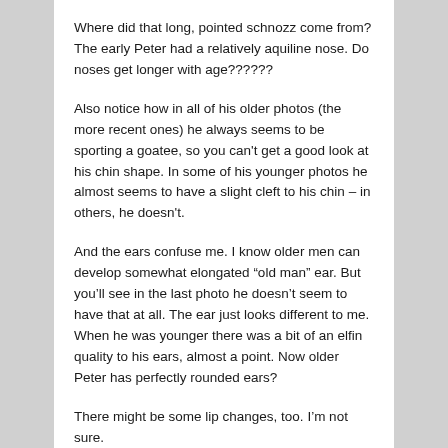Where did that long, pointed schnozz come from? The early Peter had a relatively aquiline nose. Do noses get longer with age??????
Also notice how in all of his older photos (the more recent ones) he always seems to be sporting a goatee, so you can't get a good look at his chin shape. In some of his younger photos he almost seems to have a slight cleft to his chin – in others, he doesn't.
And the ears confuse me. I know older men can develop somewhat elongated “old man” ear. But you’ll see in the last photo he doesn’t seem to have that at all. The ear just looks different to me. When he was younger there was a bit of an elfin quality to his ears, almost a point. Now older Peter has perfectly rounded ears?
There might be some lip changes, too. I’m not sure.
Anyway, I hope I haven’t completely made a fool of myself